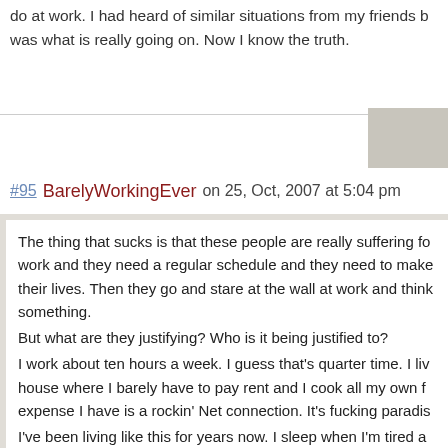do at work. I had heard of similar situations from my friends but was what is really going on. Now I know the truth.
#95 BarelyWorkingEver on 25, Oct, 2007 at 5:04 pm
The thing that sucks is that these people are really suffering for work and they need a regular schedule and they need to make their lives. Then they go and stare at the wall at work and think something.
But what are they justifying? Who is it being justified to?
I work about ten hours a week. I guess that's quarter time. I live in a house where I barely have to pay rent and I cook all my own food. The only expense I have is a rockin' Net connection. It's fucking paradise.
I've been living like this for years now. I sleep when I'm tired and wake when it naturally wakes up. That alone is absolutely priceless to me no matter how hard it can be.
I study a dozen subjects in excruciating detail and with Open Access I'm up to date on genuinely cutting edge research on almost any academic subject. There's no end to the entertainment value of a simple Net connection.
I eat incredible slow cooked meals every day and my house always smells like either slow roasting bread in the oven or garlic and chiles roas